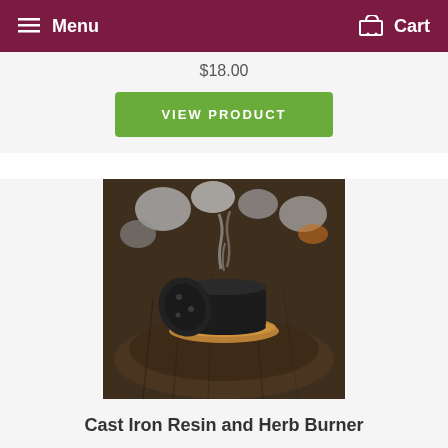Menu  Cart
$18.00
VIEW PRODUCT
[Figure (photo): Cast iron resin and herb burner on a wooden stump with a lid leaning against it, smoke rising, with river rocks in background]
Cast Iron Resin and Herb Burner
$22.00